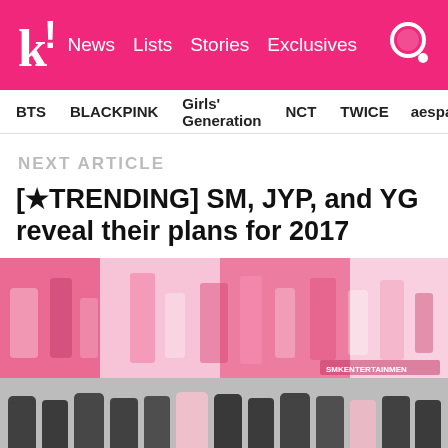k! News Lists Stories Exclusives
BTS   BLACKPINK   Girls' Generation   NCT   TWICE   aespa
NEXT ARTICLE
[★TRENDING] SM, JYP, and YG reveal their plans for 2017
[Figure (photo): Colorful promotional photo collage of K-pop artists on pink/white background, likely SM Entertainment artists]
[Figure (photo): Group photo of K-pop artists in dark casual clothing on light gray background, likely JYP Entertainment artists]